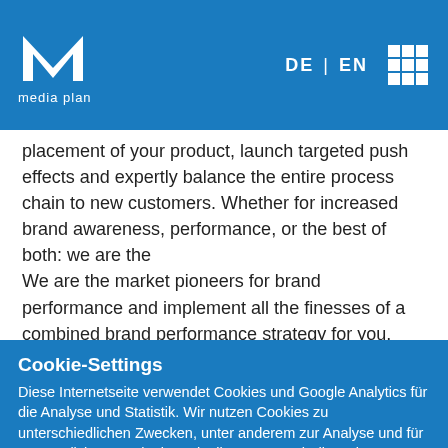media plan — DE | EN
placement of your product, launch targeted push effects and expertly balance the entire process chain to new customers. Whether for increased brand awareness, performance, or the best of both: we are the
We are the market pioneers for brand performance and implement all the finesses of a combined brand performance strategy for you.
Cookie-Settings
Diese Internetseite verwendet Cookies und Google Analytics für die Analyse und Statistik. Wir nutzen Cookies zu unterschiedlichen Zwecken, unter anderem zur Analyse und für personalisierte Marketing-Mitteilungen. Durch die weitere Nutzung der Website stimmen Sie der Verwendung zu.
Cookie-Settings | Save selection | Accept all